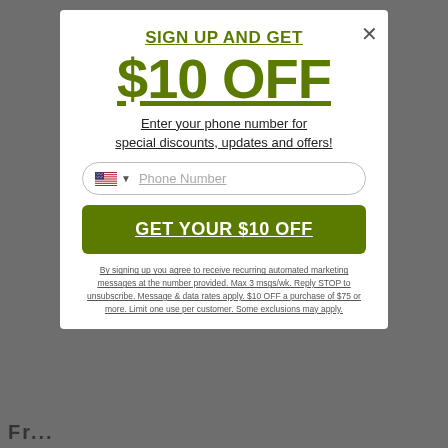SIGN UP AND GET
$10 OFF
Enter your phone number for special discounts, updates and offers!
[Figure (screenshot): Phone number input field with US flag selector and chevron, showing placeholder text 'Phone Number']
GET YOUR $10 OFF
By signing up you agree to receive recurring automated marketing messages at the number provided. Max 3 msgs/wk. Reply STOP to unsubscribe. Message & data rates apply. $10 OFF a purchase of $75 or more. Limit one use per customer. Some exclusions may apply.